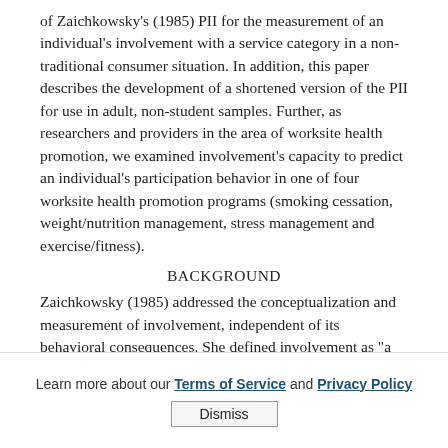of Zaichkowsky's (1985) PII for the measurement of an individual's involvement with a service category in a non-traditional consumer situation. In addition, this paper describes the development of a shortened version of the PII for use in adult, non-student samples. Further, as researchers and providers in the area of worksite health promotion, we examined involvement's capacity to predict an individual's participation behavior in one of four worksite health promotion programs (smoking cessation, weight/nutrition management, stress management and exercise/fitness).
BACKGROUND
Zaichkowsky (1985) addressed the conceptualization and measurement of involvement, independent of its behavioral consequences. She defined involvement as "a person's
Learn more about our Terms of Service and Privacy Policy
Dismiss